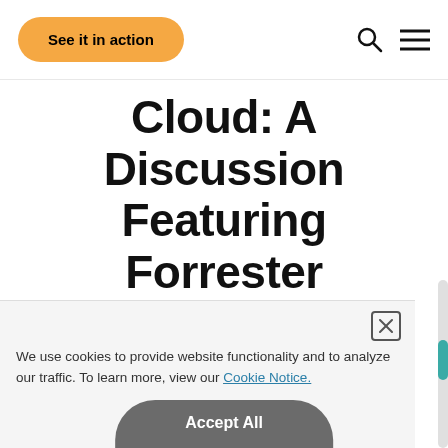See it in action
Cloud: A Discussion Featuring Forrester
Watch our latest webinar where we discuss this study in detail.
Watch now
We use cookies to provide website functionality and to analyze our traffic. To learn more, view our Cookie Notice.
Accept All